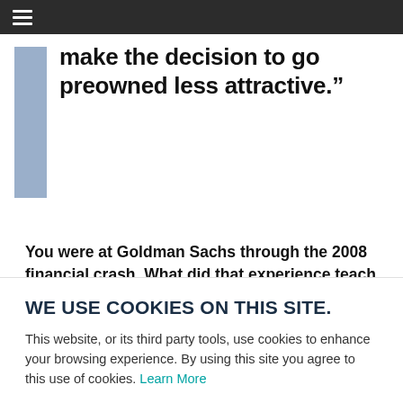≡
make the decision to go preowned less attractive."
You were at Goldman Sachs through the 2008 financial crash. What did that experience teach you about financial markets?
WE USE COOKIES ON THIS SITE.
This website, or its third party tools, use cookies to enhance your browsing experience. By using this site you agree to this use of cookies. Learn More
ACCEPT